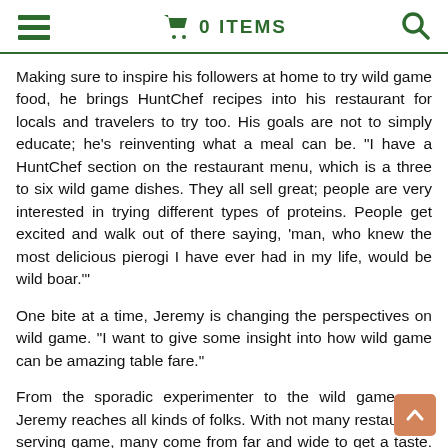☰  🛒 0 ITEMS  🔍
Making sure to inspire his followers at home to try wild game food, he brings HuntChef recipes into his restaurant for locals and travelers to try too. His goals are not to simply educate; he's reinventing what a meal can be. "I have a HuntChef section on the restaurant menu, which is a three to six wild game dishes. They all sell great; people are very interested in trying different types of proteins. People get excited and walk out of there saying, 'man, who knew the most delicious pierogi I have ever had in my life, would be wild boar.'"
One bite at a time, Jeremy is changing the perspectives on wild game. "I want to give some insight into how wild game can be amazing table fare."
From the sporadic experimenter to the wild game pro, Jeremy reaches all kinds of folks. With not many restaurants serving game, many come from far and wide to get a taste. "Just recently, I did a 15-course wild game dinner for a private event. it was their 40th annual wild game dinner and my fifth time cooking for them. It was just awesome. I cooked elk, moose, venison, pheasant, quail, walleye, rainbow trout,